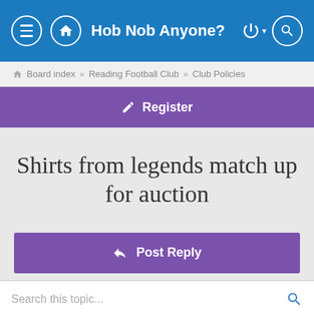Hob Nob Anyone?
Board index » Reading Football Club » Club Policies
Register
Shirts from legends match up for auction
Post Reply
Search this topic...
10 posts • Page 1 of 1